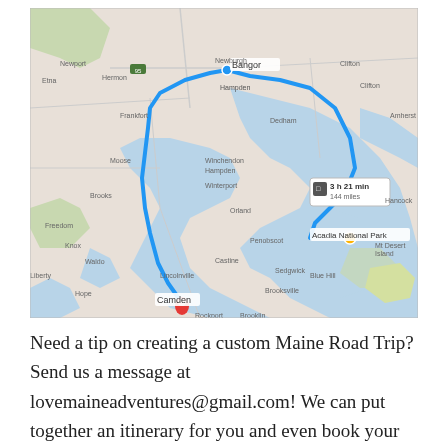[Figure (map): Google Maps screenshot showing a road trip route in Maine, with a blue path connecting Bangor, Acadia National Park, and Camden. A route info box shows '3 h 21 min, 144 miles'. Camden is marked with a red pin, Acadia National Park with a gold star.]
Need a tip on creating a custom Maine Road Trip? Send us a message at lovemaineadventures@gmail.com! We can put together an itinerary for you and even book your trip! Fill out a form in the "Book your trip" tab, or find the form...